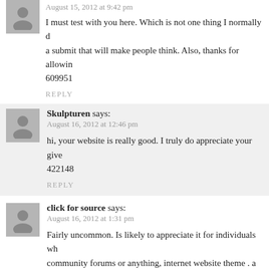August 15, 2012 at 9:42 pm
I must test with you here. Which is not one thing I normally d… a submit that will make people think. Also, thanks for allowin… 609951
REPLY
Skulpturen says:
August 16, 2012 at 12:46 pm
hi, your website is really good. I truly do appreciate your give… 422148
REPLY
click for source says:
August 16, 2012 at 1:31 pm
Fairly uncommon. Is likely to appreciate it for individuals wh… community forums or anything, internet website theme . a ton… client to communicate. Outstanding job.. 550705
REPLY
Source says: